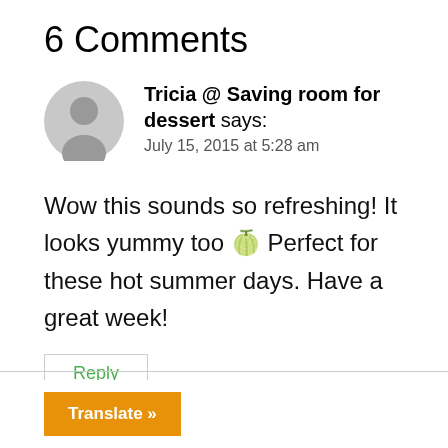6 Comments
Tricia @ Saving room for dessert says:
July 15, 2015 at 5:28 am
Wow this sounds so refreshing! It looks yummy too 🍋 Perfect for these hot summer days. Have a great week!
Reply
Translate »